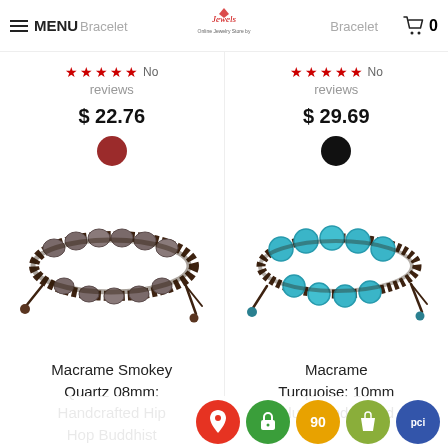MENU | Bracelet | [Logo] | Bracelet | Cart 0
No reviews
$ 22.76
No reviews
$ 29.69
[Figure (photo): Macrame Smokey Quartz 08mm bracelet with dark brown cord and smoky quartz beads]
[Figure (photo): Macrame Turquoise 10mm bracelet with dark brown cord and blue turquoise beads]
Macrame Smokey Quartz 08mm: Handcrafted Hip Hop Buddhist
Macrame Turquoise: 10mm Blue Handcrafted